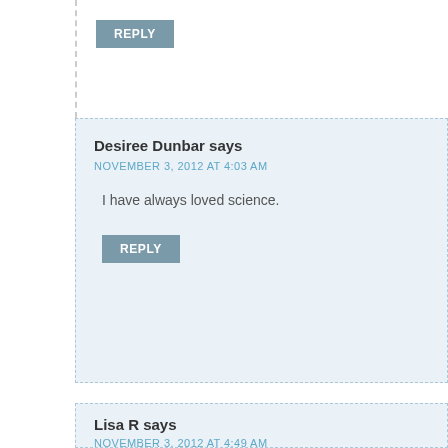REPLY
Desiree Dunbar says
NOVEMBER 3, 2012 AT 4:03 AM
I have always loved science.
REPLY
Lisa R says
NOVEMBER 3, 2012 AT 4:49 AM